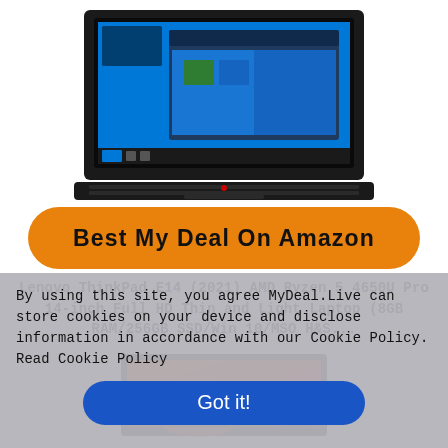[Figure (photo): Lenovo ThinkPad laptop open showing Windows 10 desktop, viewed from above at slight angle, black chassis with red accents on keyboard]
Best My Deal On Amazon
Lenovo ThinkPad E14 (2021) AMD Ryzen 5 4650U Pro 14-inch Full HD Thin and Light Laptop (8GB RAM/256GB SSD/Win 10/MSO H&S...
[Figure (photo): Laptop screen showing vivid orange canyon landscape wallpaper, partial view of laptop body]
By using this site, you agree MyDeal.Live can store cookies on your device and disclose information in accordance with our Cookie Policy. Read Cookie Policy
Got it!